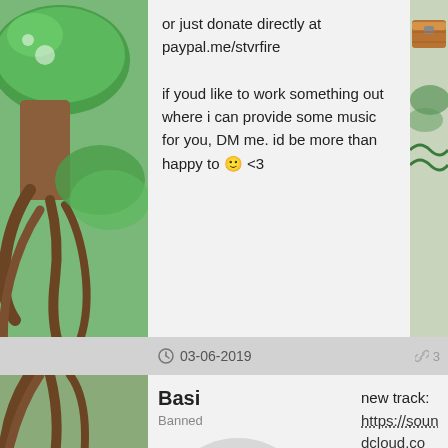[Figure (illustration): Decorative game-style illustration showing green leaves, mushrooms, and tree roots on the left side of the page]
or just donate directly at paypal.me/stvrfire

if youd like to work something out where i can provide some music for you, DM me. id be more than happy to 🙂 <3
03-06-2019
3
Basi
Banned
[Figure (illustration): Default user avatar showing a silhouette of a person in a grey circle, with a small grey dot below indicating offline status]
new track:
https://soundcloud.com/stvrfire/chab zone